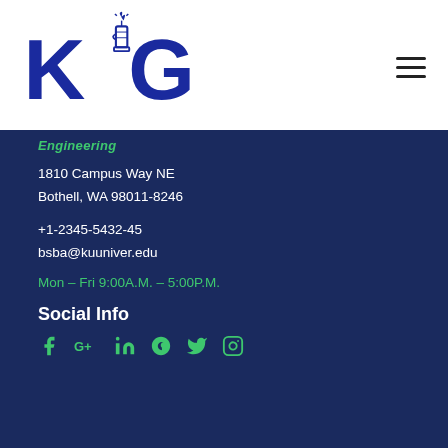[Figure (logo): KLG university logo in dark blue with a torch/candle icon between K and G letters]
Engineering
1810 Campus Way NE
Bothell, WA 98011-8246
+1-2345-5432-45
bsba@kuuniver.edu
Mon – Fri 9:00A.M. – 5:00P.M.
Social Info
[Figure (illustration): Social media icons: Facebook, Google+, LinkedIn, Skype, Twitter, Instagram — all in green]